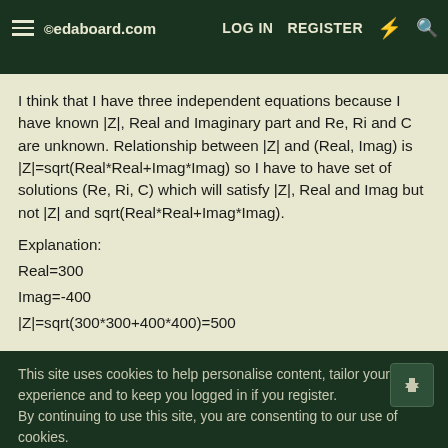edaboard.com  LOG IN  REGISTER
I think that I have three independent equations because I have known |Z|, Real and Imaginary part and Re, Ri and C are unknown. Relationship between |Z| and (Real, Imag) is |Z|=sqrt(Real*Real+Imag*Imag) so I have to have set of solutions (Re, Ri, C) which will satisfy |Z|, Real and Imag but not |Z| and sqrt(Real*Real+Imag*Imag).
Explanation:
Real=300
Imag=-400
|Z|=sqrt(300*300+400*400)=500
This site uses cookies to help personalise content, tailor your experience and to keep you logged in if you register.
By continuing to use this site, you are consenting to our use of cookies.